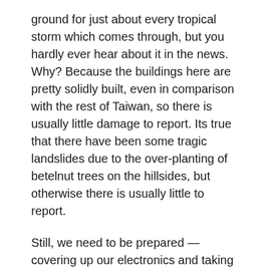ground for just about every tropical storm which comes through, but you hardly ever hear about it in the news. Why? Because the buildings here are pretty solidly built, even in comparison with the rest of Taiwan, so there is usually little damage to report. Its true that there have been some tragic landslides due to the over-planting of betelnut trees on the hillsides, but otherwise there is usually little to report.
Still, we need to be prepared — covering up our electronics and taking other precautions, so I was surprised that it was almost impossible to find a tropical storm warning rss feed. It is also hard to find good meaningful maps that graphically show you the strength and location of storms in a human-readable manner.